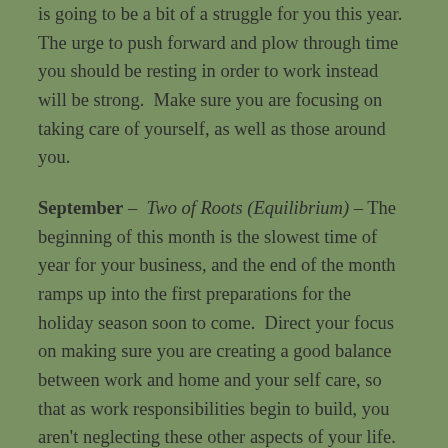is going to be a bit of a struggle for you this year. The urge to push forward and plow through time you should be resting in order to work instead will be strong.  Make sure you are focusing on taking care of yourself, as well as those around you.
September – Two of Roots (Equilibrium) – The beginning of this month is the slowest time of year for your business, and the end of the month ramps up into the first preparations for the holiday season soon to come.  Direct your focus on making sure you are creating a good balance between work and home and your self care, so that as work responsibilities begin to build, you aren't neglecting these other aspects of your life.
October – The Star – Preparation is the name of the